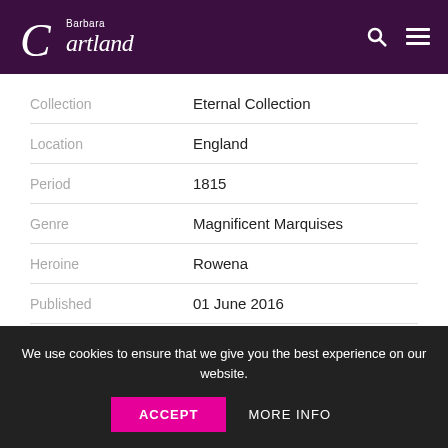Barbara Cartland
| Collection | Eternal Collection |
| Location | England |
| Period | 1815 |
| Genre | Magnificent Marquises |
| Heroine | Rowena |
| Published | 01 June 2016 |
When the handsome Marquis of Swayne is injured in a nasty carriage accident, his servants carry him to the house of the local
We use cookies to ensure that we give you the best experience on our website.